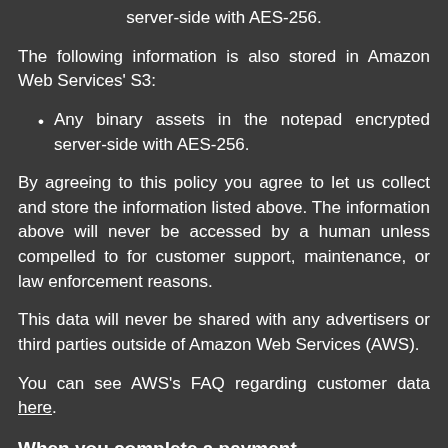server-side with AES-256.
The following information is also stored in Amazon Web Services' S3:
Any binary assets in the notepad encrypted server-side with AES-256.
By agreeing to this policy you agree to let us collect and store the information listed above. The information above will never be accessed by a human unless compelled to for customer support, maintenance, or law enforcement reasons.
This data will never be shared with any advertisers or third parties outside of Amazon Web Services (AWS).
You can see AWS's FAQ regarding customer data here.
When you complete a payment